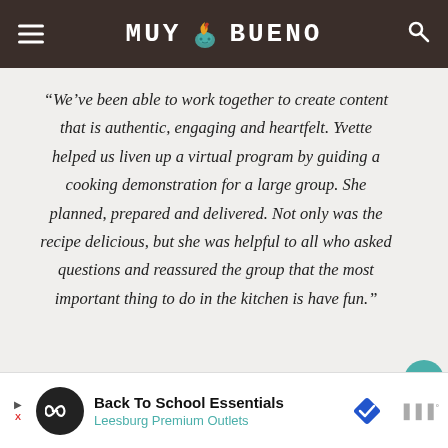MUY BUENO
“We’ve been able to work together to create content that is authentic, engaging and heartfelt. Yvette helped us liven up a virtual program by guiding a cooking demonstration for a large group. She planned, prepared and delivered. Not only was the recipe delicious, but she was helpful to all who asked questions and reassured the group that the most important thing to do in the kitchen is have fun.”
[Figure (screenshot): Advertisement banner for Back To School Essentials at Leesburg Premium Outlets]